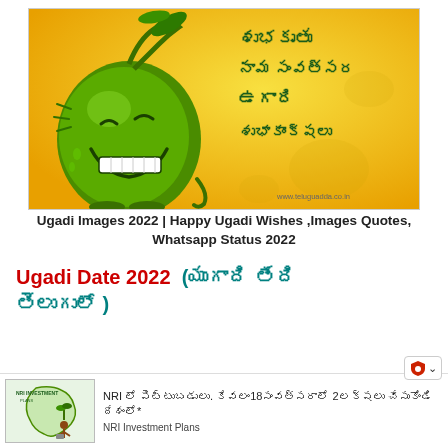[Figure (illustration): Cartoon of a green mango character with a big grinning face, leaves on top, on a yellow/orange gradient background. Telugu festival greetings text on the right side in dark green. Website watermark www.teluguadda.co.in at bottom right.]
Ugadi Images 2022 | Happy Ugadi Wishes ,Images Quotes, Whatsapp Status 2022
Ugadi Date 2022  (యుగాది తేది తెలుగులో )